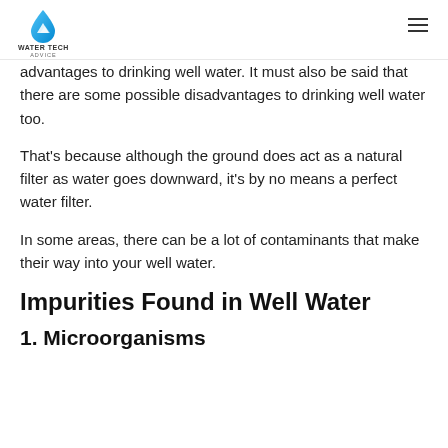WATER TECH ADVICE
advantages to drinking well water. It must also be said that there are some possible disadvantages to drinking well water too.
That’s because although the ground does act as a natural filter as water goes downward, it’s by no means a perfect water filter.
In some areas, there can be a lot of contaminants that make their way into your well water.
Impurities Found in Well Water
1. Microorganisms